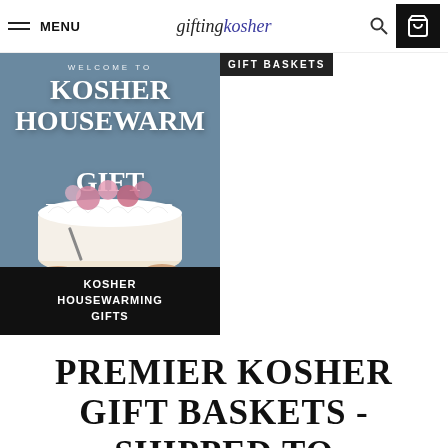MENU | giftingkosher
[Figure (photo): Promotional banner image for Kosher Housewarming Gift Baskets. A cake decorated with flowers is held by hands against a blue-grey background. White text overlay reads 'KOSHER HOUSEWARMING GIFT BASKETS'. Below is a black banner reading 'KOSHER HOUSEWARMING GIFTS'.]
GIFT BASKETS
PREMIER KOSHER GIFT BASKETS - SHIPPED TO SPRINGDALE,